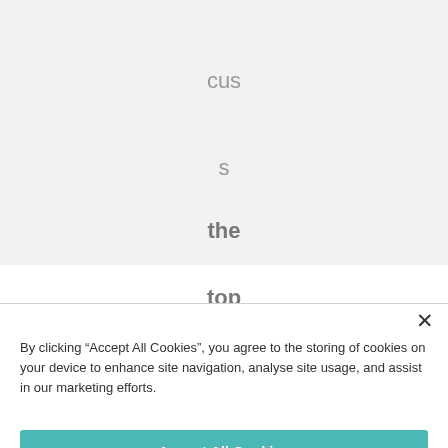cus
s
the
top
ic
By clicking “Accept All Cookies”, you agree to the storing of cookies on your device to enhance site navigation, analyse site usage, and assist in our marketing efforts.
Accept All Cookies
Cookies Settings